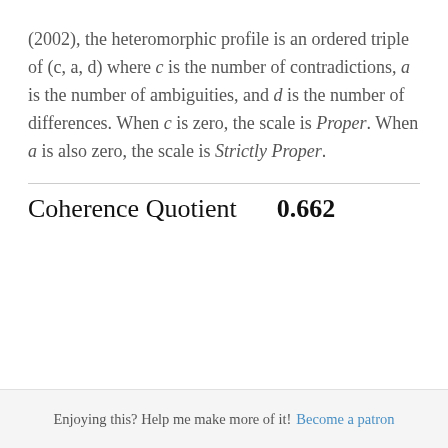(2002), the heteromorphic profile is an ordered triple of (c, a, d) where c is the number of contradictions, a is the number of ambiguities, and d is the number of differences. When c is zero, the scale is Proper. When a is also zero, the scale is Strictly Proper.
Coherence Quotient   0.662
Enjoying this? Help me make more of it! Become a patron